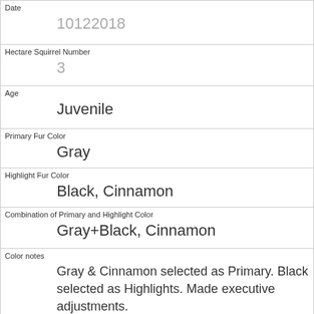| Field | Value |
| --- | --- |
| Date | 10122018 |
| Hectare Squirrel Number | 3 |
| Age | Juvenile |
| Primary Fur Color | Gray |
| Highlight Fur Color | Black, Cinnamon |
| Combination of Primary and Highlight Color | Gray+Black, Cinnamon |
| Color notes | Gray & Cinnamon selected as Primary. Black selected as Highlights. Made executive adjustments. |
| Location | Above Ground |
| Above Ground Sighter Measurement | 1 |
| Specific Location |  |